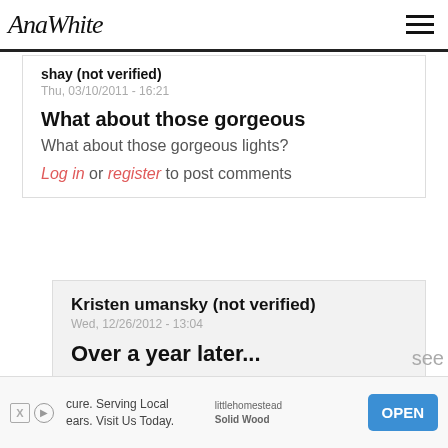AnaWhite
shay (not verified)
Thu, 03/10/2011 - 16:21
What about those gorgeous
What about those gorgeous lights?
Log in or register to post comments
Kristen umansky (not verified)
Wed, 12/26/2012 - 13:04
Over a year later...
cure. Serving Local
ears. Visit Us Today.
littlehomestead
Solid Wood
OPEN